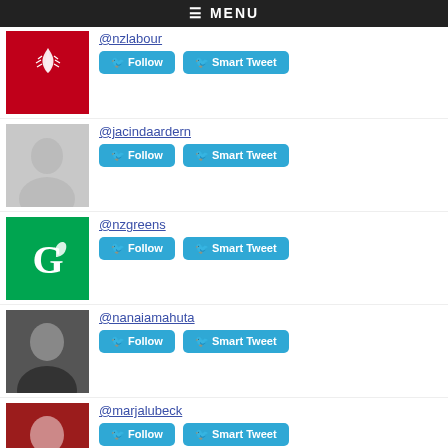≡ MENU
@nzlabour
@jacindaardern
@nzgreens
@nanaiamahuta
@marjalubeck
@golrizghahraman
@nznationalparty
@helenclarknz